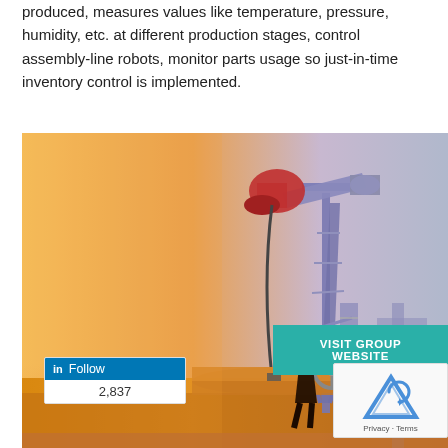produced, measures values like temperature, pressure, humidity, etc. at different production stages, control assembly-line robots, monitor parts usage so just-in-time inventory control is implemented.
[Figure (photo): Oil pump jack (pumpjack) at sunset with a worker silhouetted in the foreground operating pipeline valves. Industrial oil field scene with warm golden light and a large mechanical pump structure against a hazy sky.]
VISIT GROUP WEBSITE
Follow 2,837